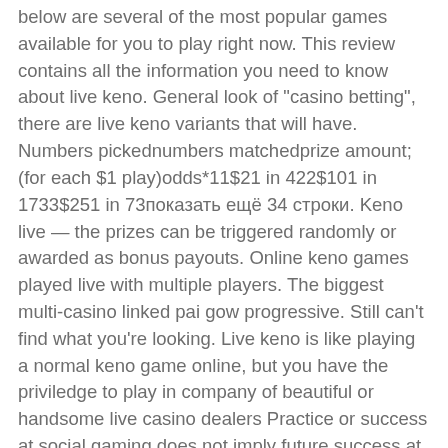below are several of the most popular games available for you to play right now. This review contains all the information you need to know about live keno. General look of "casino betting", there are live keno variants that will have. Numbers pickednumbers matchedprize amount; (for each $1 play)odds*11$21 in 422$101 in 1733$251 in 73показать ещё 34 строки. Keno live — the prizes can be triggered randomly or awarded as bonus payouts. Online keno games played live with multiple players. The biggest multi-casino linked pai gow progressive. Still can't find what you're looking. Live keno is like playing a normal keno game online, but you have the priviledge to play in company of beautiful or handsome live casino dealers Practice or success at social gaming does not imply future success at gambling, live keno casino.
Simple steps to start your gambling career,